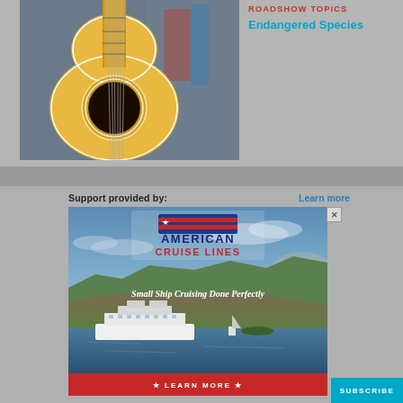[Figure (photo): Close-up photograph of an acoustic guitar, showing the body, sound hole with decorative rosette, and neck against a blurred background.]
ROADSHOW TOPICS
Endangered Species
Support provided by:
Learn more
[Figure (photo): American Cruise Lines advertisement showing a cruise ship on a river with cliffs and landscape in background. Text reads: Small Ship Cruising Done Perfectly. Learn More button at bottom.]
SUBSCRIBE